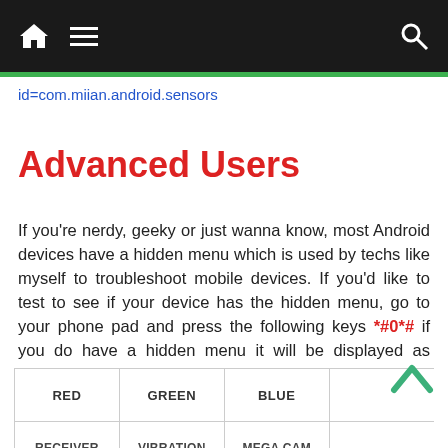navigation bar with home, menu, and search icons
id=com.miian.android.sensors
Advanced Users
If you're nerdy, geeky or just wanna know, most Android devices have a hidden menu which is used by techs like myself to troubleshoot mobile devices. If you'd like to test to see if your device has the hidden menu, go to your phone pad and press the following keys *#0*# if you do have a hidden menu it will be displayed as shown below like on my own device.
| RED | GREEN | BLUE |  |
| --- | --- | --- | --- |
| RECEIVER | VIBRATION | MEGA CAM |  |